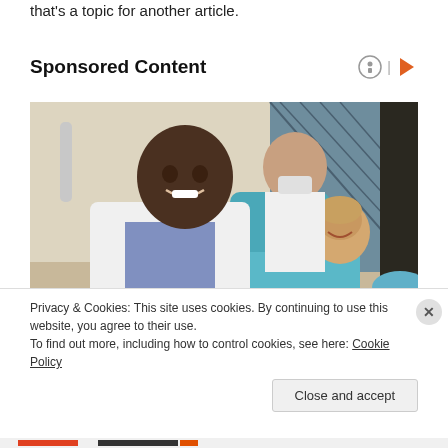that's a topic for another article.
Sponsored Content
[Figure (photo): A smiling dentist in a white lab coat posing with a young boy patient in a dental chair, with a masked dental assistant standing behind them in a dental office.]
Privacy & Cookies: This site uses cookies. By continuing to use this website, you agree to their use.
To find out more, including how to control cookies, see here: Cookie Policy
Close and accept